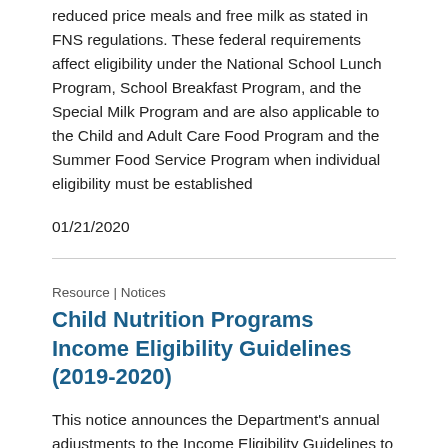reduced price meals and free milk as stated in FNS regulations. These federal requirements affect eligibility under the National School Lunch Program, School Breakfast Program, and the Special Milk Program and are also applicable to the Child and Adult Care Food Program and the Summer Food Service Program when individual eligibility must be established
01/21/2020
Resource | Notices
Child Nutrition Programs Income Eligibility Guidelines (2019-2020)
This notice announces the Department's annual adjustments to the Income Eligibility Guidelines to be